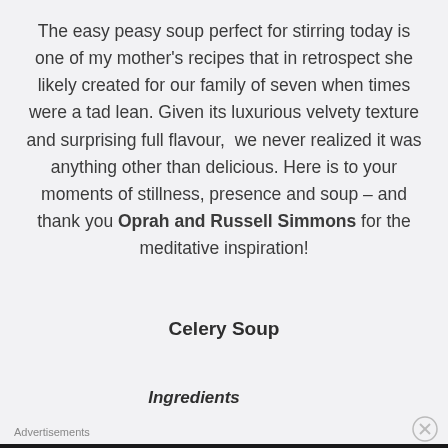The easy peasy soup perfect for stirring today is one of my mother's recipes that in retrospect she likely created for our family of seven when times were a tad lean. Given its luxurious velvety texture and surprising full flavour,  we never realized it was anything other than delicious. Here is to your moments of stillness, presence and soup – and thank you Oprah and Russell Simmons for the meditative inspiration!
Celery Soup
Ingredients
Advertisements